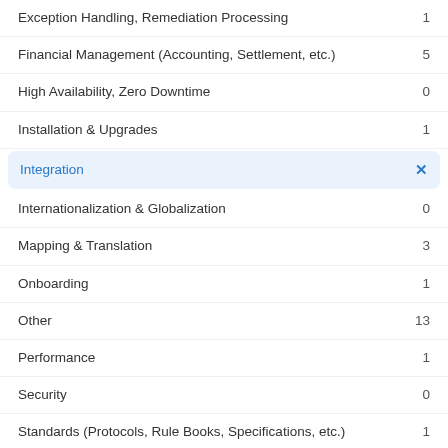Exception Handling, Remediation Processing    1
Financial Management (Accounting, Settlement, etc.)    5
High Availability, Zero Downtime    0
Installation & Upgrades    1
Integration    ×
Internationalization & Globalization    0
Mapping & Translation    3
Onboarding    1
Other    13
Performance    1
Security    0
Standards (Protocols, Rule Books, Specifications, etc.)    1